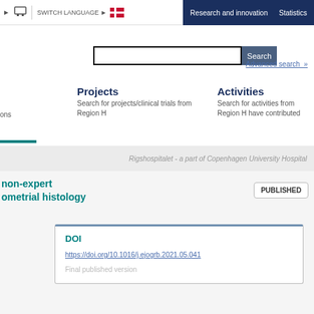SWITCH LANGUAGE | Research and innovation | Statistics
Search
Advanced search »
Projects
Search for projects/clinical trials from Region H
Activities
Search for activities from Region H have contributed
Rigshospitalet - a part of Copenhagen University Hospital
non-expert ometrial histology
PUBLISHED
DOI
https://doi.org/10.1016/j.ejogrb.2021.05.041
Final published version